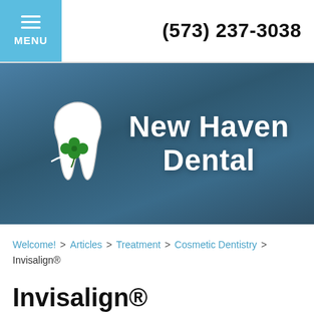MENU  (573) 237-3038
[Figure (logo): New Haven Dental logo with white tooth and green shamrock, white text on dark blue-grey gradient background reading New Haven Dental]
Welcome! > Articles > Treatment > Cosmetic Dentistry > Invisalign®
Invisalign®
Created in Treatment, Cosmetic Dentistry